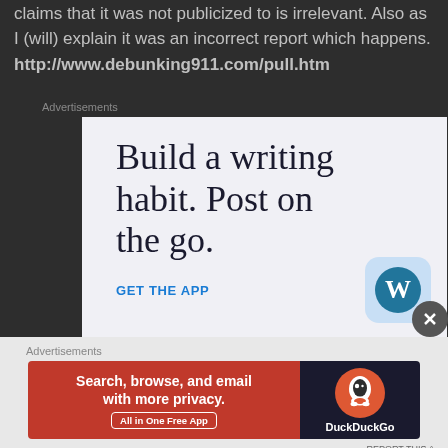claims that it was not publicized to is irrelevant. Also as I (will) explain it was an incorrect report which happens.
http://www.debunking911.com/pull.htm
Advertisements
[Figure (screenshot): WordPress app advertisement with text 'Build a writing habit. Post on the go.' and 'GET THE APP' call to action with WordPress logo]
Advertisements
[Figure (screenshot): DuckDuckGo advertisement: 'Search, browse, and email with more privacy. All in One Free App' with DuckDuckGo logo]